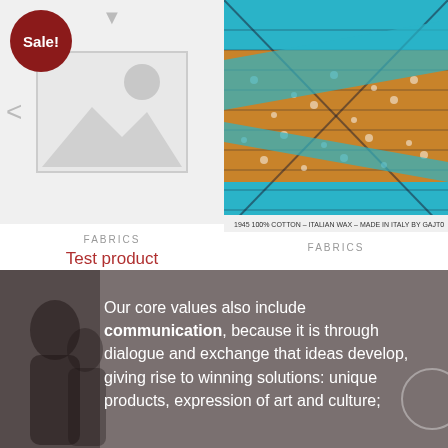[Figure (screenshot): E-commerce product listing showing two product cards. Left card has a placeholder image with a 'Sale!' badge (dark red circle). Right card shows a colorful African wax fabric pattern (teal and brown/gold). Below the images: left card shows category 'FABRICS', title 'Test product', price strikethrough ¢10.00 and sale price ¢5.00. Right card shows category 'FABRICS'. Navigation arrows visible.]
Our core values also include communication, because it is through dialogue and exchange that ideas develop, giving rise to winning solutions: unique products, expression of art and culture;